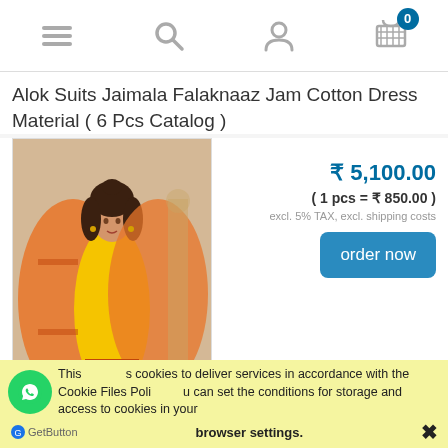Navigation bar with menu, search, user, and cart (0 items) icons
Alok Suits Jaimala Falaknaaz Jam Cotton Dress Material ( 6 Pcs Catalog )
[Figure (photo): Woman wearing yellow and orange Indian salwar suit dress material]
₹ 5,100.00
( 1 pcs = ₹ 850.00 )
excl. 5% TAX, excl. shipping costs
order now
Alok Suits Classic Touch Jam Cotton With Lucknowi
This uses cookies to deliver services in accordance with the Cookie Files Policy. You can set the conditions for storage and access to cookies in your browser settings.